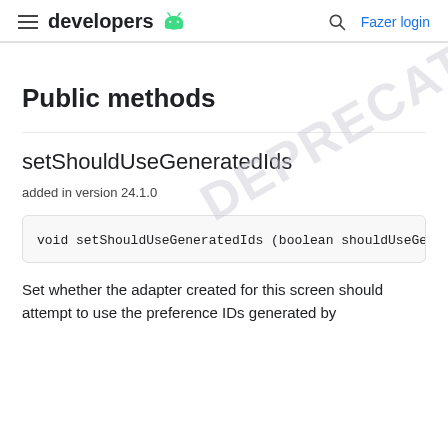developers [android logo] | [search icon] Fazer login
Public methods
setShouldUseGeneratedIds
added in version 24.1.0
void setShouldUseGeneratedIds (boolean shouldUseGene
Set whether the adapter created for this screen should attempt to use the preference IDs generated by